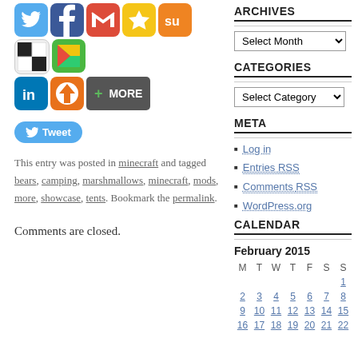[Figure (other): Social sharing icons row 1: Twitter (blue t), Facebook (blue f), Gmail (red envelope), Stumbleupon star, StumbleUpon teal su, ShareThis black/white squares, Keeeb colorful arrow]
[Figure (other): Social sharing icons row 2: LinkedIn blue 'in', Instapaper orange circle-arrow, green More button]
[Figure (other): Blue Twitter Tweet button]
This entry was posted in minecraft and tagged bears, camping, marshmallows, minecraft, mods, more, showcase, tents. Bookmark the permalink.
Comments are closed.
ARCHIVES
Select Month (dropdown)
CATEGORIES
Select Category (dropdown)
META
Log in
Entries RSS
Comments RSS
WordPress.org
CALENDAR
February 2015
| M | T | W | T | F | S | S |
| --- | --- | --- | --- | --- | --- | --- |
|  |  |  |  |  |  | 1 |
| 2 | 3 | 4 | 5 | 6 | 7 | 8 |
| 9 | 10 | 11 | 12 | 13 | 14 | 15 |
| 16 | 17 | 18 | 19 | 20 | 21 | 22 |